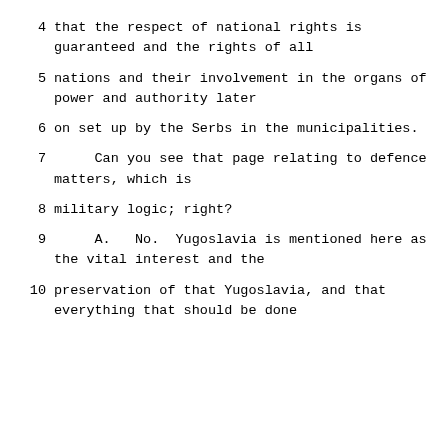4    that the respect of national rights is guaranteed and the rights of all
5    nations and their involvement in the organs of power and authority later
6    on set up by the Serbs in the municipalities.
7         Can you see that page relating to defence matters, which is
8    military logic; right?
9         A.   No.  Yugoslavia is mentioned here as the vital interest and the
10    preservation of that Yugoslavia, and that everything that should be done